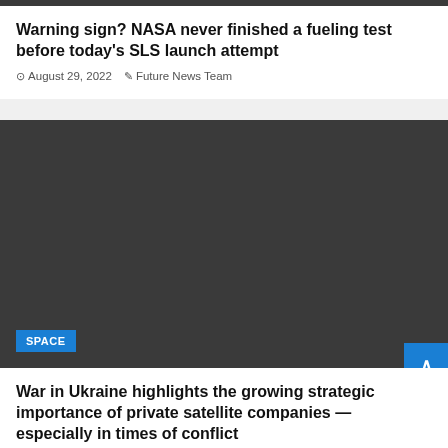[Figure (photo): Dark/black image strip at top of page]
Warning sign? NASA never finished a fueling test before today's SLS launch attempt
August 29, 2022   Future News Team
[Figure (photo): Large dark/black rectangular image block for second article, with a SPACE category tag in the lower left corner]
War in Ukraine highlights the growing strategic importance of private satellite companies — especially in times of conflict